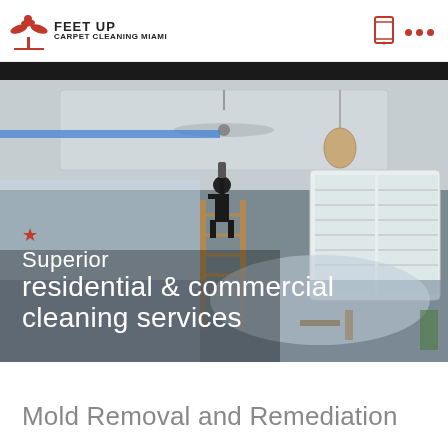FEET UP CARPET CLEANING MIAMI
[Figure (photo): A worker on a ladder doing ceiling or painting work in a room with furniture covered in plastic sheeting. Blue painter's tape on walls. Room has windows with shutters and a pendant light.]
Superior residential & commercial cleaning services
Mold Removal and Remediation